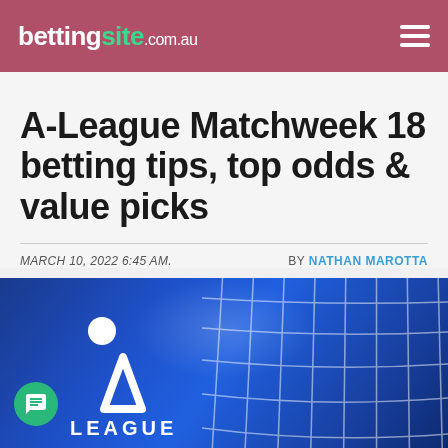bettingsite.com.au
A-League Matchweek 18 betting tips, top odds & value picks
MARCH 10, 2022 6:45 AM.   BY NATHAN MAROTTA
[Figure (photo): A-League branded hero image showing a soccer goal net on a blue background with the A-League logo (triangle A shape and ball) and LEAGUE text]